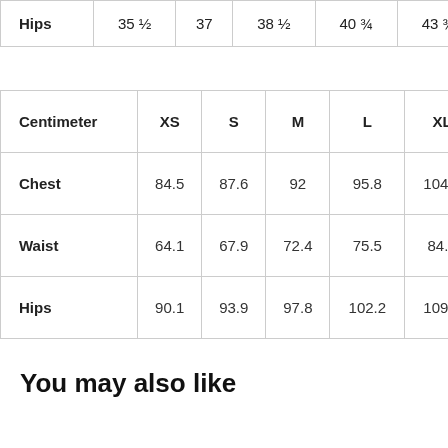|  | XS | S | M | L | XL |
| --- | --- | --- | --- | --- | --- |
| Hips | 35 ½ | 37 | 38 ½ | 40 ¾ | 43 ¾ |
| Centimeter | XS | S | M | L | XL |
| --- | --- | --- | --- | --- | --- |
| Chest | 84.5 | 87.6 | 92 | 95.8 | 104.1 |
| Waist | 64.1 | 67.9 | 72.4 | 75.5 | 84.5 |
| Hips | 90.1 | 93.9 | 97.8 | 102.2 | 109.8 |
You may also like